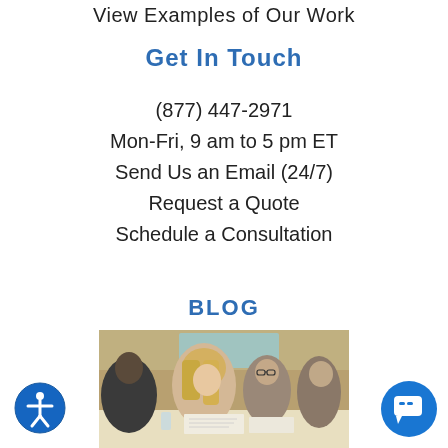View Examples of Our Work
Get In Touch
(877) 447-2971
Mon-Fri, 9 am to 5 pm ET
Send Us an Email (24/7)
Request a Quote
Schedule a Consultation
BLOG
[Figure (photo): Photo of people sitting around a conference table in a meeting room, with a projection screen in the background. A woman with blonde hair is in the foreground, and two other people (a woman with glasses and a man) are visible behind her.]